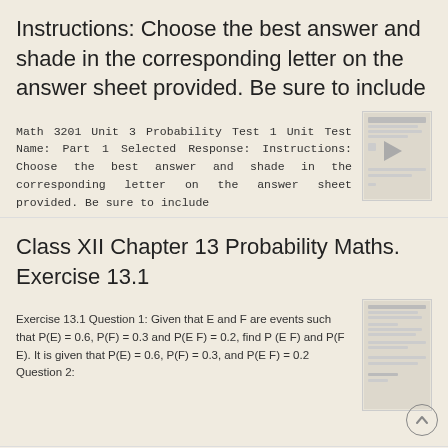Instructions: Choose the best answer and shade in the corresponding letter on the answer sheet provided. Be sure to include
Math 3201 Unit 3 Probability Test 1 Unit Test Name: Part 1 Selected Response: Instructions: Choose the best answer and shade in the corresponding letter on the answer sheet provided. Be sure to include
More information →
Class XII Chapter 13 Probability Maths. Exercise 13.1
Exercise 13.1 Question 1: Given that E and F are events such that P(E) = 0.6, P(F) = 0.3 and P(E F) = 0.2, find P (E F) and P(F E). It is given that P(E) = 0.6, P(F) = 0.3, and P(E F) = 0.2 Question 2: